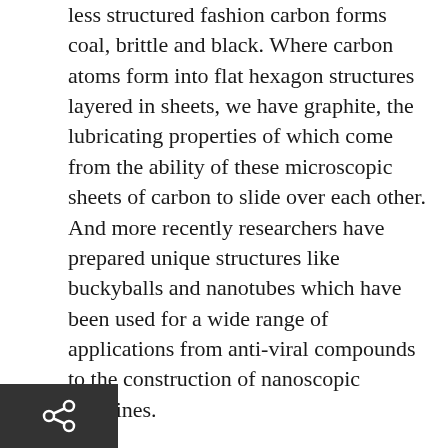less structured fashion carbon forms coal, brittle and black. Where carbon atoms form into flat hexagon structures layered in sheets, we have graphite, the lubricating properties of which come from the ability of these microscopic sheets of carbon to slide over each other. And more recently researchers have prepared unique structures like buckyballs and nanotubes which have been used for a wide range of applications from anti-viral compounds to the construction of nanoscopic machines.

A more detailed description of the different forms of carbon (i.e. carbon allotropes) can be found here. Carbon is a unique element, its versatility being responsible for life on Earth and probably anywhere else it may exist and it well deserves being the first element discussed in this series.